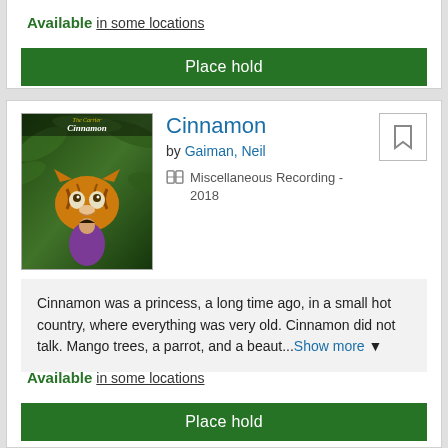Available in some locations
Place hold
Cinnamon by Gaiman, Neil Miscellaneous Recording - 2018
Cinnamon was a princess, a long time ago, in a small hot country, where everything was very old. Cinnamon did not talk. Mango trees, a parrot, and a beaut...Show more
Available in some locations
Place hold